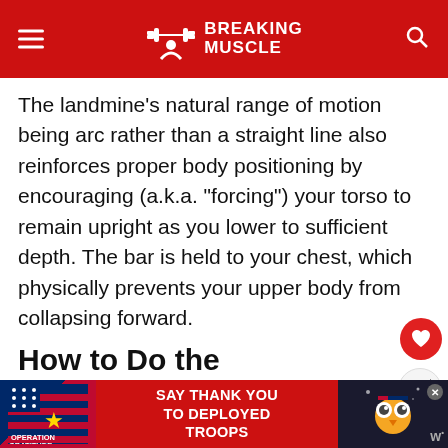BREAKING MUSCLE
The landmine's natural range of motion being arc rather than a straight line also reinforces proper body positioning by encouraging (a.k.a. “forcing”) your torso to remain upright as you lower to sufficient depth. The bar is held to your chest, which physically prevents your upper body from collapsing forward.
How to Do the Landmine Goblet Squat
Getting into the starting position is often a limiting factor with the right
[Figure (infographic): Operation Gratitude advertisement banner: SAY THANK YOU TO DEPLOYED TROOPS]
WHAT'S NEXT → Powerbuilding: The Training...